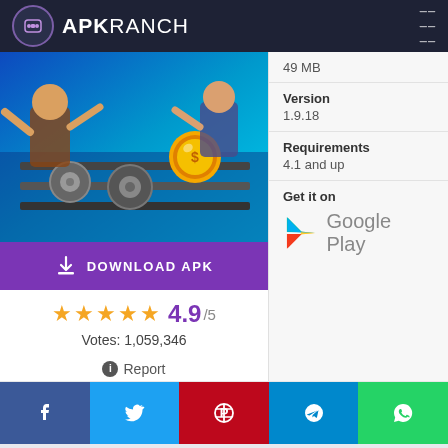APKRANCH
[Figure (screenshot): Game screenshot showing action fighting game with characters, machinery, and gold coin on blue background]
DOWNLOAD APK
★★★★★ 4.9/5
Votes: 1,059,346
ℹ Report
49 MB
Version
1.9.18
Requirements
4.1 and up
Get it on
Google Play
ADVERTISEMENT